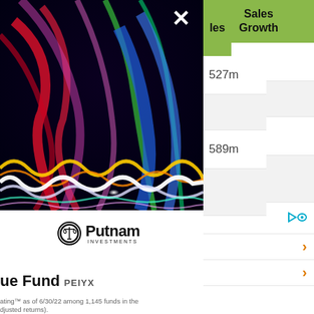[Figure (photo): Abstract colorful light streaks photography with blues, reds, greens overlaid with glowing wave patterns]
[Figure (logo): Putnam Investments logo with scales icon]
ue Fund PEIYX
| les | Sales Growth |
| --- | --- |
| 527m | 17% |
|  |  |
| 589m | 15% |
|  |  |
ating™ as of 6/30/22 among 1,145 funds in the djusted returns).